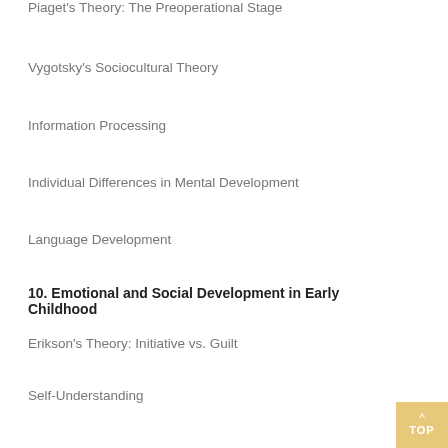Piaget's Theory: The Preoperational Stage
Vygotsky's Sociocultural Theory
Information Processing
Individual Differences in Mental Development
Language Development
10. Emotional and Social Development in Early Childhood
Erikson's Theory: Initiative vs. Guilt
Self-Understanding
Emotional Development
Peer Relations
Foundations of Morality
Gender Typing
Child Rearing and Emotional and Social Development